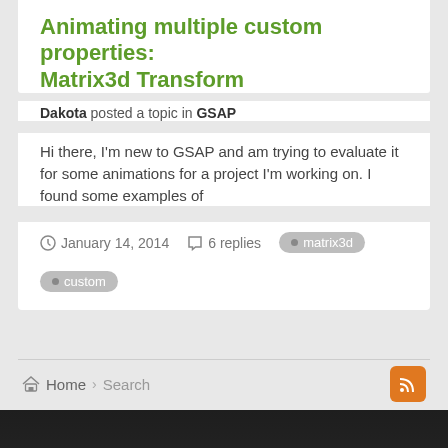Animating multiple custom properties: Matrix3d Transform
Dakota posted a topic in GSAP
Hi there, I'm new to GSAP and am trying to evaluate it for some animations for a project I'm working on. I found some examples of
January 14, 2014  6 replies  matrix3d  custom
Home > Search
"GSAP is awesome - I just dropped all my [custom] code, like a thousand lines of code and everything is so so much simpler, smoother and much easier to read for other developers! You have no idea how cool it is